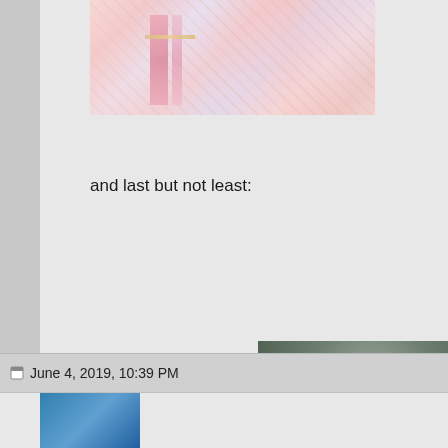[Figure (photo): Colorful sari fabric with pink and gold stripes, partially cropped at top of page]
and last but not least:
[Figure (photo): Close-up photo of a man wearing a dark baseball cap with a logo, appears to be a cricket player, with blurred green background]
June 4, 2019, 10:39 PM
[Figure (photo): Partially visible avatar image at very bottom of page]